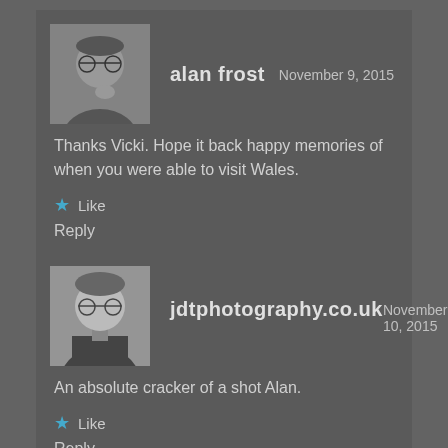[Figure (photo): Avatar photo of alan frost, black and white, man with glasses]
alan frost
November 9, 2015
Thanks Vicki. Hope it back happy memories of when you were able to visit Wales.
★ Like
Reply
[Figure (photo): Avatar photo of jdtphotography.co.uk, black and white, man with glasses]
jdtphotography.co.uk
November 10, 2015
An absolute cracker of a shot Alan.
★ Like
Reply